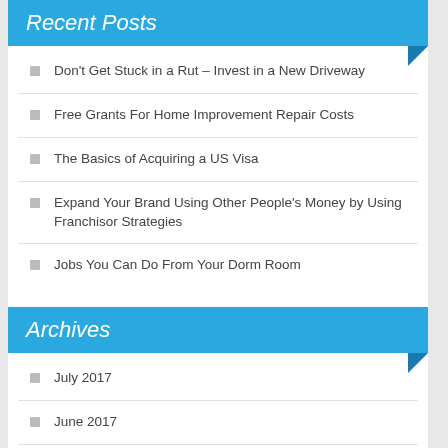Recent Posts
Don't Get Stuck in a Rut – Invest in a New Driveway
Free Grants For Home Improvement Repair Costs
The Basics of Acquiring a US Visa
Expand Your Brand Using Other People's Money by Using Franchisor Strategies
Jobs You Can Do From Your Dorm Room
Archives
July 2017
June 2017
May 2017
April 2017
March 2017
February 2017